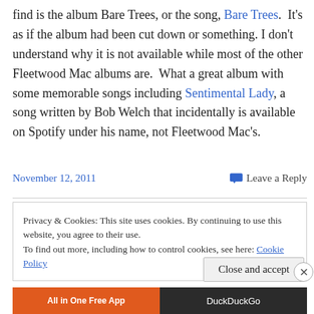find is the album Bare Trees, or the song, Bare Trees.  It's as if the album had been cut down or something. I don't understand why it is not available while most of the other Fleetwood Mac albums are.  What a great album with some memorable songs including Sentimental Lady, a song written by Bob Welch that incidentally is available on Spotify under his name, not Fleetwood Mac's.
November 12, 2011    Leave a Reply
Privacy & Cookies: This site uses cookies. By continuing to use this website, you agree to their use.
To find out more, including how to control cookies, see here: Cookie Policy